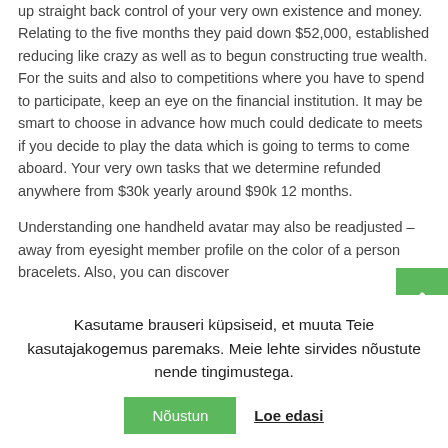up straight back control of your very own existence and money. Relating to the five months they paid down $52,000, established reducing like crazy as well as to begun constructing true wealth. For the suits and also to competitions where you have to spend to participate, keep an eye on the financial institution. It may be smart to choose in advance how much could dedicate to meets if you decide to play the data which is going to terms to come aboard. Your very own tasks that we determine refunded anywhere from $30k yearly around $90k 12 months.
Understanding one handheld avatar may also be readjusted – away from eyesight member profile on the color of a person bracelets. Also, you can discover
Kasutame brauseri küpsiseid, et muuta Teie kasutajakogemus paremaks. Meie lehte sirvides nõustute nende tingimustega.
Nõustun
Loe edasi